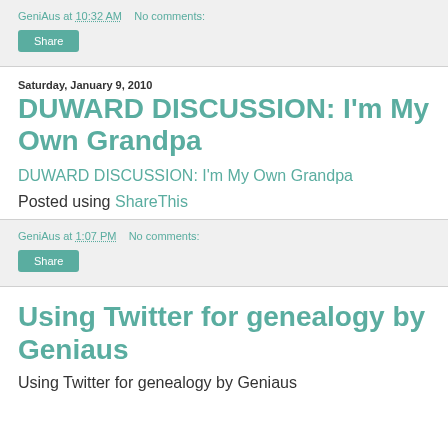GeniAus at 10:32 AM   No comments:
Share
Saturday, January 9, 2010
DUWARD DISCUSSION: I'm My Own Grandpa
DUWARD DISCUSSION: I'm My Own Grandpa
Posted using ShareThis
GeniAus at 1:07 PM   No comments:
Share
Using Twitter for genealogy by Geniaus
Using Twitter for genealogy by Geniaus